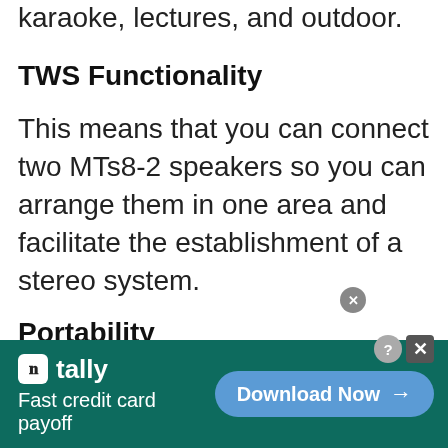karaoke, lectures, and outdoor.
TWS Functionality
This means that you can connect two MTs8-2 speakers so you can arrange them in one area and facilitate the establishment of a stereo system.
Portability
Pull Rods and wheels make the MTs8-2 karaoke machine easy to
[Figure (infographic): Advertisement banner for Tally app. Dark teal background. Left side shows Tally logo (white square with 'n' icon) followed by 'tally' brand name and tagline 'Fast credit card payoff'. Right side shows a blue rounded 'Download Now →' button. Top-right corner has help (?) and close (X) icons.]